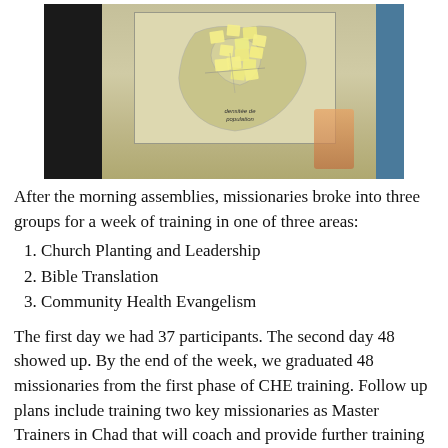[Figure (photo): A photograph of a map on a board with yellow sticky notes attached to it, placed on a table. Dark background on left, blue container on right.]
After the morning assemblies, missionaries broke into three groups for a week of training in one of three areas:
1. Church Planting and Leadership
2. Bible Translation
3. Community Health Evangelism
The first day we had 37 participants. The second day 48 showed up. By the end of the week, we graduated 48 missionaries from the first phase of CHE training. Follow up plans include training two key missionaries as Master Trainers in Chad that will coach and provide further training for the